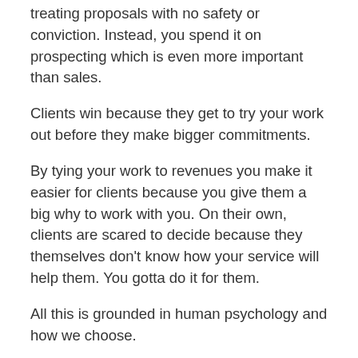treating proposals with no safety or conviction. Instead, you spend it on prospecting which is even more important than sales.
Clients win because they get to try your work out before they make bigger commitments.
By tying your work to revenues you make it easier for clients because you give them a big why to work with you. On their own, clients are scared to decide because they themselves don't know how your service will help them. You gotta do it for them.
All this is grounded in human psychology and how we choose.
Why Offer Packages With